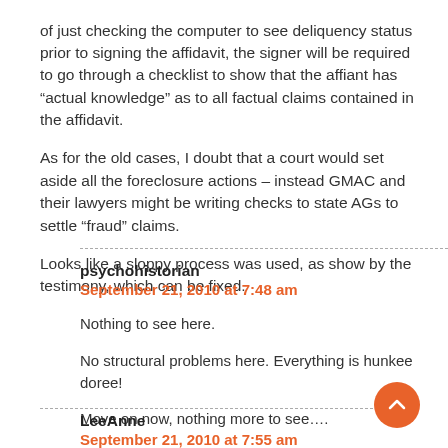of just checking the computer to see deliquency status prior to signing the affidavit, the signer will be required to go through a checklist to show that the affiant has “actual knowledge” as to all factual claims contained in the affidavit.
As for the old cases, I doubt that a court would set aside all the foreclosure actions – instead GMAC and their lawyers might be writing checks to state AGs to settle “fraud” claims.
Looks like a sloppy process was used, as show by the testimony, which can be fixed.
psychohistorian
September 21, 2010 at 7:48 am

Nothing to see here.

No structural problems here. Everything is hunkee doree!

Move on now, nothing more to see….

(/snark)
LeeAnne
September 21, 2010 at 7:55 am